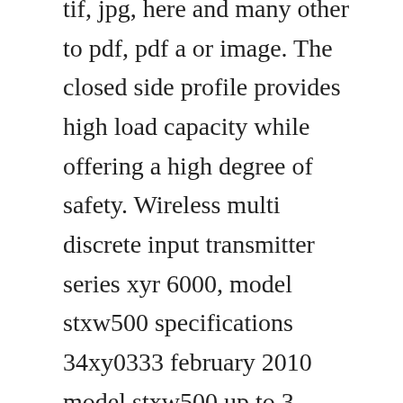tif, jpg, here and many other to pdf, pdf a or image. The closed side profile provides high load capacity while offering a high degree of safety. Wireless multi discrete input transmitter series xyr 6000, model stxw500 specifications 34xy0333 february 2010 model stxw500 up to 3 discrete inputs introduction building upon the tremendously successful st 3000 series transmitter line. A machine is supplied energy at a rate of 4,000 w and does. Remotedrive on the liebherr compact crane proves itself in practice.

As a singletable machine, it easily and readily